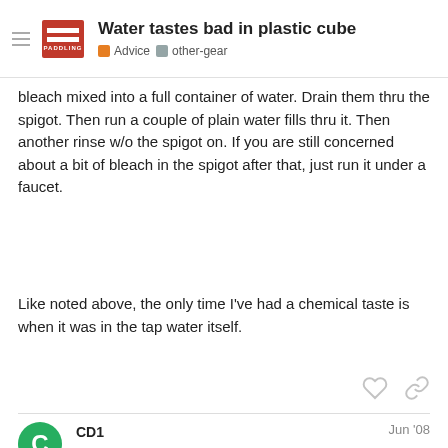Water tastes bad in plastic cube | Advice | other-gear
bleach mixed into a full container of water. Drain them thru the spigot. Then run a couple of plain water fills thru it. Then another rinse w/o the spigot on. If you are still concerned about a bit of bleach in the spigot after that, just run it under a faucet.
Like noted above, the only time I’ve had a chemical taste is when it was in the tap water itself.
CD1 Jun '08
That’s just those peskys BPAs